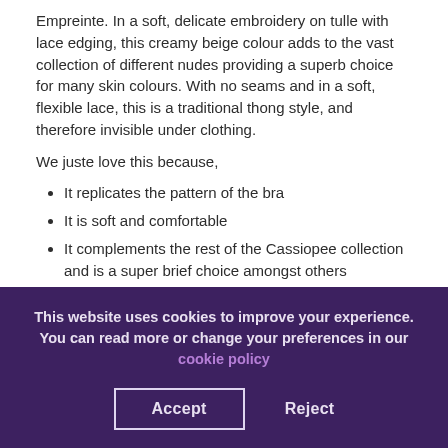Empreinte. In a soft, delicate embroidery on tulle with lace edging, this creamy beige colour adds to the vast collection of different nudes providing a superb choice for many skin colours. With no seams and in a soft, flexible lace, this is a traditional thong style, and therefore invisible under clothing.
We juste love this because,
It replicates the pattern of the bra
It is soft and comfortable
It complements the rest of the Cassiopee collection and is a super brief choice amongst others
Both comfortable and exquisite in a flattering fit, it sits at hipster height with sheer back
This website uses cookies to improve your experience. You can read more or change your preferences in our cookie policy
Accept   Reject